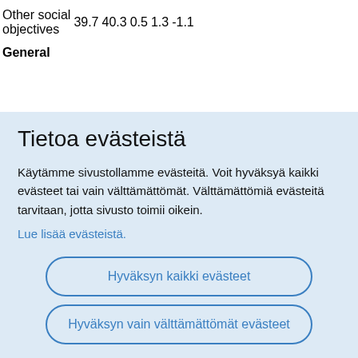|  |  |  |  |  |  |
| --- | --- | --- | --- | --- | --- |
| Other social objectives | 39.7 | 40.3 | 0.5 | 1.3 | -1.1 |
| General |  |  |  |  |  |
Tietoa evästeistä
Käytämme sivustollamme evästeitä. Voit hyväksyä kaikki evästeet tai vain välttämättömät. Välttämättömiä evästeitä tarvitaan, jotta sivusto toimii oikein.
Lue lisää evästeistä.
Hyväksyn kaikki evästeet
Hyväksyn vain välttämättömät evästeet